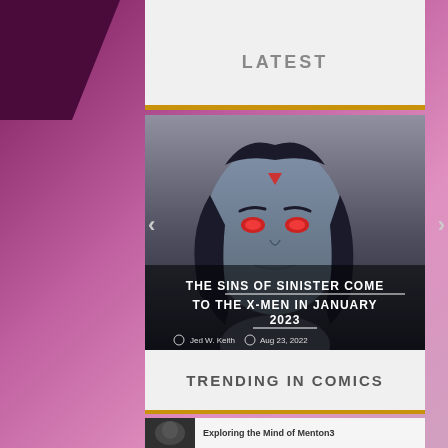LATEST
[Figure (illustration): Comic book villain with blue-gray skin, red eyes, and dark hair — Mr. Sinister character illustration with overlaid text]
THE SINS OF SINISTER COME TO THE X-MEN IN JANUARY 2023
Jed W. Keith  Aug 23, 2022
TRENDING IN COMICS
[Figure (photo): Dark comic book character thumbnail]
Exploring the Mind of Menton3